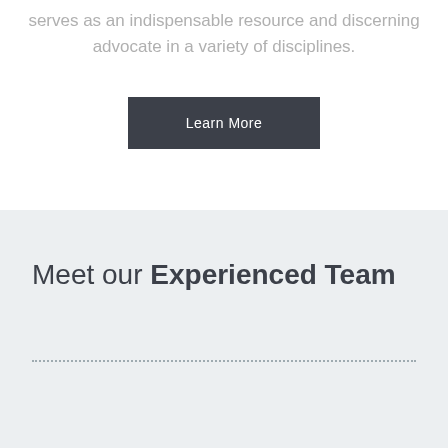serves as an indispensable resource and discerning advocate in a variety of disciplines.
Learn More
Meet our Experienced Team